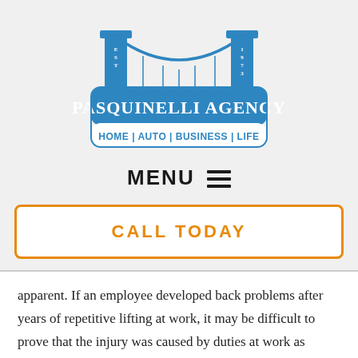[Figure (logo): Pasquinelli Agency logo featuring a blue suspension bridge with 'Est 1973' on the towers, the agency name in white text on blue background, and 'Home | Auto | Business | Life' below]
MENU ☰
CALL TODAY
apparent. If an employee developed back problems after years of repetitive lifting at work, it may be difficult to prove that the injury was caused by duties at work as opposed to outside activities.